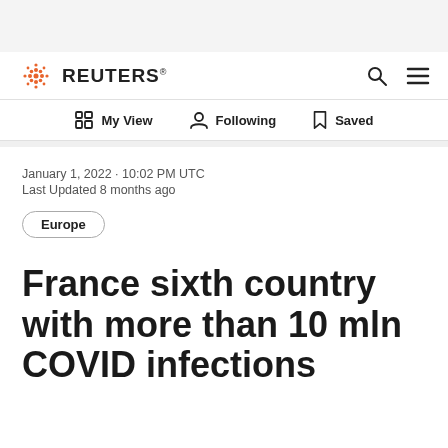REUTERS
My View | Following | Saved
January 1, 2022 · 10:02 PM UTC
Last Updated 8 months ago
Europe
France sixth country with more than 10 mln COVID infections